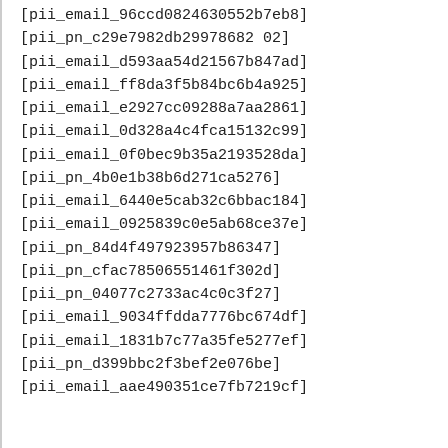[pii_email_96ccd0824630552b7eb8]
[pii_pn_c29e7982db29978682 02]
[pii_email_d593aa54d21567b847ad]
[pii_email_ff8da3f5b84bc6b4a925]
[pii_email_e2927cc09288a7aa2861]
[pii_email_0d328a4c4fca15132c99]
[pii_email_0f0bec9b35a2193528da]
[pii_pn_4b0e1b38b6d271ca5276]
[pii_email_6440e5cab32c6bbac184]
[pii_email_0925839c0e5ab68ce37e]
[pii_pn_84d4f497923957b86347]
[pii_pn_cfac78506551461f302d]
[pii_pn_04077c2733ac4c0c3f27]
[pii_email_9034ffdda7776bc674df]
[pii_email_1831b7c77a35fe5277ef]
[pii_pn_d399bbc2f3bef2e076be]
[pii_email_aae490351ce7fb7219cf]